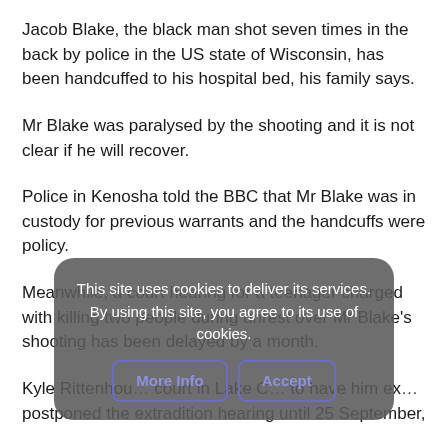Jacob Blake, the black man shot seven times in the back by police in the US state of Wisconsin, has been handcuffed to his hospital bed, his family says.
Mr Blake was paralysed by the shooting and it is not clear if he will recover.
Police in Kenosha told the BBC that Mr Blake was in custody for previous warrants and the handcuffs were policy.
Meanwhile, a court hearing for a teenager charged with killing two people during unrest over Mr Blake’s shooting has been delayed by a month.
Kyle Rittenhou… court in Lake C… to have him ex… postponed the extradition hearing until 25 September,
This site uses cookies to deliver its services. By using this site, you agree to its use of cookies.